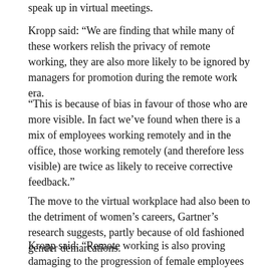speak up in virtual meetings.
Kropp said: “We are finding that while many of these workers relish the privacy of remote working, they are also more likely to be ignored by managers for promotion during the remote work era.
“This is because of bias in favour of those who are more visible. In fact we’ve found when there is a mix of employees working remotely and in the office, those working remotely (and therefore less visible) are twice as likely to receive corrective feedback.”
The move to the virtual workplace had also been to the detriment of women’s careers, Gartner’s research suggests, partly because of old fashioned gender demarcations.
Kropp said: “Remote working is also proving damaging to the progression of female employees in the workplace, and we expect the gender wage gap to